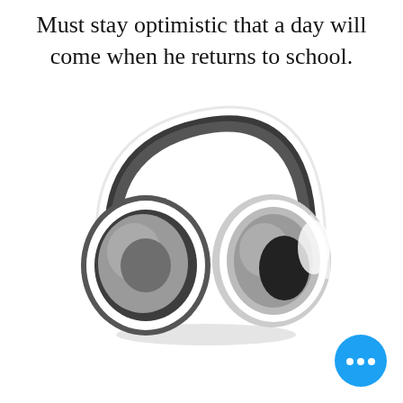Must stay optimistic that a day will come when he returns to school.
[Figure (photo): A pair of white and black over-ear headphones photographed on a white background with a subtle shadow beneath them.]
[Figure (other): A round blue chat/more-options button with three white dots in the center, positioned in the bottom-right corner.]